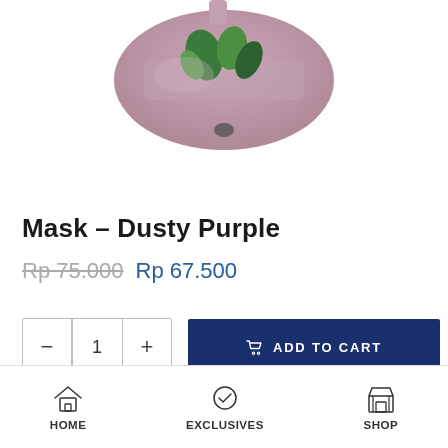[Figure (photo): Product photo of a dusty purple fabric mask with green leaf/floral print, shown from top, partially cropped at the top of the page]
Mask – Dusty Purple
Rp 75.000  Rp 67.500
Quantity selector with minus, 1, plus buttons and ADD TO CART button
HOME  EXCLUSIVES  SHOP